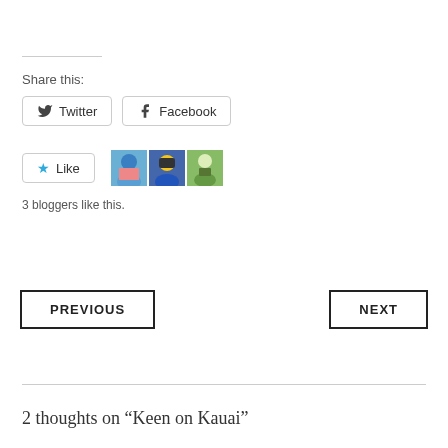Share this:
Twitter  Facebook
Like  3 bloggers like this.
PREVIOUS
NEXT
2 thoughts on “Keen on Kauai”